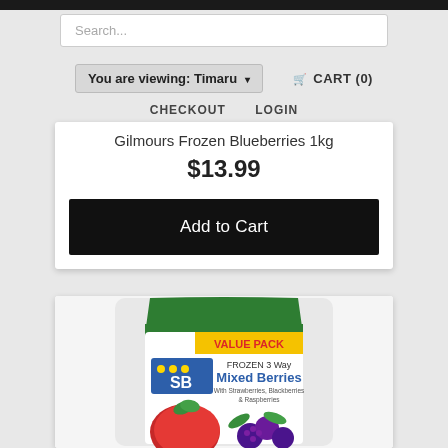Search...
You are viewing: Timaru ▾
🛒 CART (0)
CHECKOUT   LOGIN
Gilmours Frozen Blueberries 1kg
$13.99
Add to Cart
[Figure (photo): SB Frozen 3 Way Mixed Berries VALUE PACK bag with strawberries, blackberries and raspberries shown on front.]